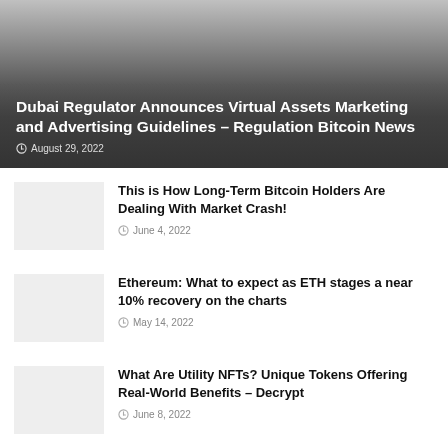[Figure (photo): Hero banner image with gradient overlay showing article about Dubai Regulator]
Dubai Regulator Announces Virtual Assets Marketing and Advertising Guidelines – Regulation Bitcoin News
August 29, 2022
[Figure (photo): Thumbnail image placeholder for Bitcoin holders article]
This is How Long-Term Bitcoin Holders Are Dealing With Market Crash!
June 4, 2022
[Figure (photo): Thumbnail image placeholder for Ethereum article]
Ethereum: What to expect as ETH stages a near 10% recovery on the charts
May 14, 2022
[Figure (photo): Thumbnail image placeholder for Utility NFTs article]
What Are Utility NFTs? Unique Tokens Offering Real-World Benefits – Decrypt
June 8, 2022